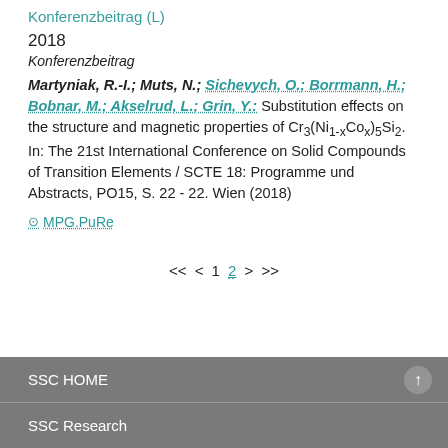Konferenzbeitrag (L)
2018
Konferenzbeitrag
Martyniak, R.-I.; Muts, N.; Sichevych, O.; Borrmann, H.; Bobnar, M.; Akselrud, L.; Grin, Y.: Substitution effects on the structure and magnetic properties of Cr3(Ni1-xCox)5Si2. In: The 21st International Conference on Solid Compounds of Transition Elements / SCTE 18: Programme und Abstracts, PO15, S. 22 - 22. Wien (2018)
MPG.PuRe
<< < 1 2 > >>
SSC HOME
SSC Research